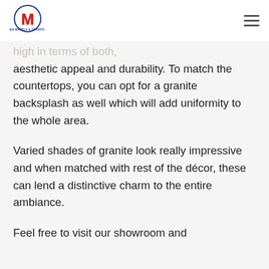Allied Marble & Granite Inc. logo and navigation
high in terms of both, aesthetic appeal and durability. To match the countertops, you can opt for a granite backsplash as well which will add uniformity to the whole area.
Varied shades of granite look really impressive and when matched with rest of the décor, these can lend a distinctive charm to the entire ambiance.
Feel free to visit our showroom and